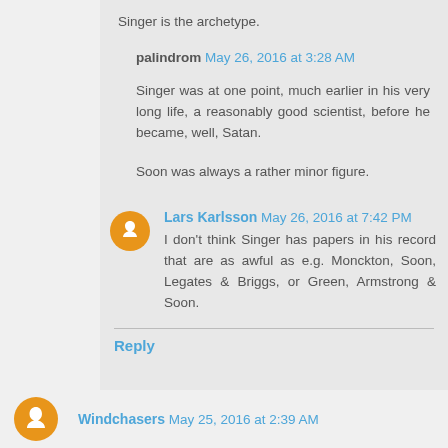Singer is the archetype.
palindrom  May 26, 2016 at 3:28 AM
Singer was at one point, much earlier in his very long life, a reasonably good scientist, before he became, well, Satan.
Soon was always a rather minor figure.
Lars Karlsson  May 26, 2016 at 7:42 PM
I don't think Singer has papers in his record that are as awful as e.g. Monckton, Soon, Legates & Briggs, or Green, Armstrong & Soon.
Reply
Windchasers  May 25, 2016 at 2:39 AM